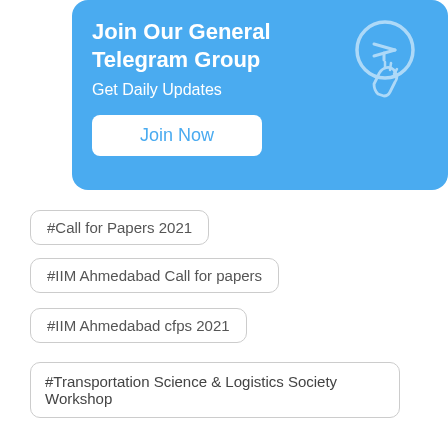[Figure (infographic): Blue rounded card with 'Join Our General Telegram Group' title, 'Get Daily Updates' subtitle, a 'Join Now' button, and a Telegram/finger-tap icon on the right.]
#Call for Papers 2021
#IIM Ahmedabad Call for papers
#IIM Ahmedabad cfps 2021
#Transportation Science & Logistics Society Workshop